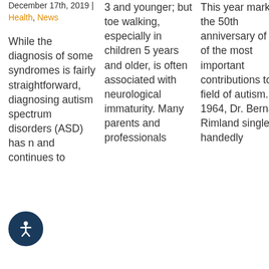December 17th, 2019 | Health, News
While the diagnosis of some syndromes is fairly straightforward, diagnosing autism spectrum disorders (ASD) has n and continues to
3 and younger; but toe walking, especially in children 5 years and older, is often associated with neurological immaturity. Many parents and professionals
This year marks the 50th anniversary of one of the most important contributions to the field of autism. In 1964, Dr. Bernard Rimland single-handedly